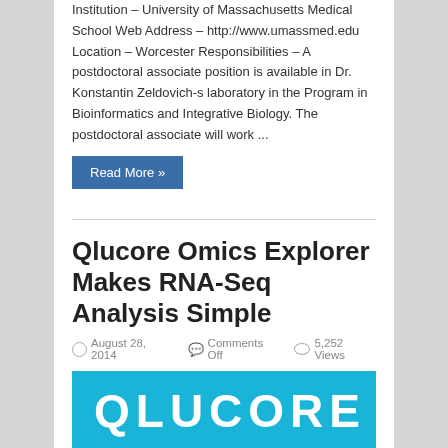Institution – University of Massachusetts Medical School Web Address – http://www.umassmed.edu Location – Worcester Responsibilities – A postdoctoral associate position is available in Dr. Konstantin Zeldovich-s laboratory in the Program in Bioinformatics and Integrative Biology. The postdoctoral associate will work ...
Read More »
Qlucore Omics Explorer Makes RNA-Seq Analysis Simple
August 28, 2014   Comments Off   5,252 Views
[Figure (logo): Qlucore logo on cyan/teal background with white bold text reading QLUCORE]